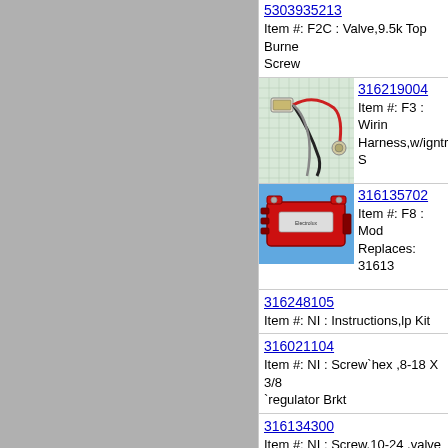5303935213
Item #: F2C : Valve,9.5k Top Burner Screw
[Figure (photo): Wiring harness product photo on grid background]
316219004
Item #: F3 : Wiring Harness,w/igntr S
[Figure (photo): Red module/igniter product photo]
316135702
Item #: F8 : Mod
Replaces: 31613
316248105
Item #: NI : Instructions,lp Kit
316021104
Item #: NI : Screw`hex ,8-18 X 3/8 `regulator Brkt
316134300
Item #: NI : Screw,10-24 ,valve Mo
316253700
Item #: NI : Wiring Harness,ignitor H
5303271648
Item #: NI : Screw,wafer Hd Sq Dr